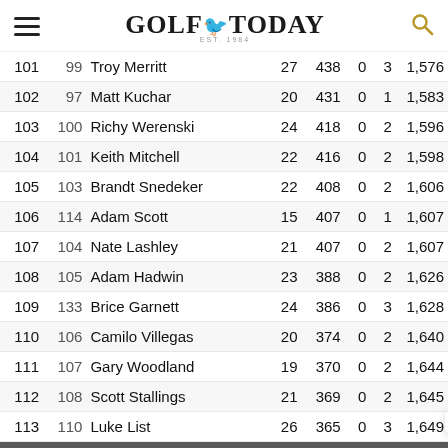Golf Today
| Rank | Prev | Name | Ev | Pts | W | T | Avg |
| --- | --- | --- | --- | --- | --- | --- | --- |
| 101 | 99 | Troy Merritt | 27 | 438 | 0 | 3 | 1,576 |
| 102 | 97 | Matt Kuchar | 20 | 431 | 0 | 1 | 1,583 |
| 103 | 100 | Richy Werenski | 24 | 418 | 0 | 2 | 1,596 |
| 104 | 101 | Keith Mitchell | 22 | 416 | 0 | 2 | 1,598 |
| 105 | 103 | Brandt Snedeker | 22 | 408 | 0 | 2 | 1,606 |
| 106 | 114 | Adam Scott | 15 | 407 | 0 | 1 | 1,607 |
| 107 | 104 | Nate Lashley | 21 | 407 | 0 | 2 | 1,607 |
| 108 | 105 | Adam Hadwin | 23 | 388 | 0 | 2 | 1,626 |
| 109 | 133 | Brice Garnett | 24 | 386 | 0 | 3 | 1,628 |
| 110 | 106 | Camilo Villegas | 20 | 374 | 0 | 2 | 1,640 |
| 111 | 107 | Gary Woodland | 19 | 370 | 0 | 2 | 1,644 |
| 112 | 108 | Scott Stallings | 21 | 369 | 0 | 2 | 1,645 |
| 113 | 110 | Luke List | 26 | 365 | 0 | 3 | 1,649 |
| 114 | 141 | Hank Lebioda | 19 | 361 | 0 | 1 | 1,653 |
| 115 | 111 | Pat Perez | 27 | 360 | 0 | 2 | 1,654 |
| 116 | 112 | Chesson Hadley | 20 | 360 | 0 | 1 | 1,654 |